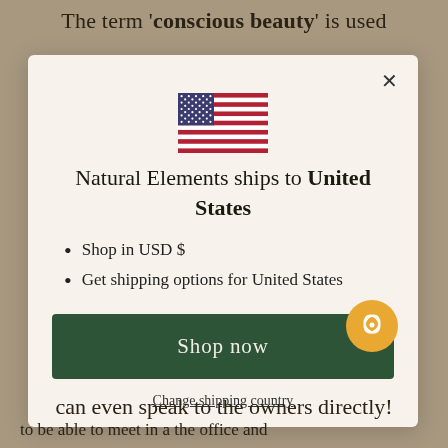The term 'conscious beauty' is used
[Figure (screenshot): A modal dialog from Natural Elements website showing a US flag, text 'Natural Elements ships to United States', bullet points about USD and shipping, a 'Shop now' button, and a 'Change shipping country' link. An orange chat button is visible at bottom right.]
can even speak to the owners directly!